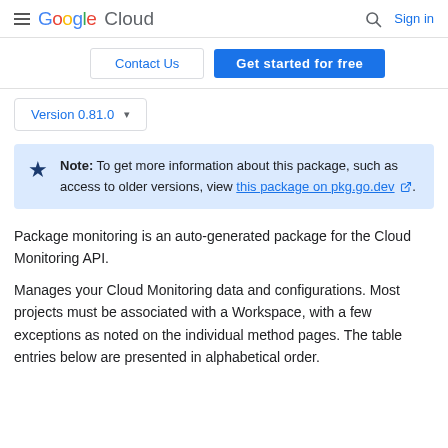Google Cloud  Sign in
Contact Us  Get started for free
Version 0.81.0
Note: To get more information about this package, such as access to older versions, view this package on pkg.go.dev.
Package monitoring is an auto-generated package for the Cloud Monitoring API.
Manages your Cloud Monitoring data and configurations. Most projects must be associated with a Workspace, with a few exceptions as noted on the individual method pages. The table entries below are presented in alphabetical order.